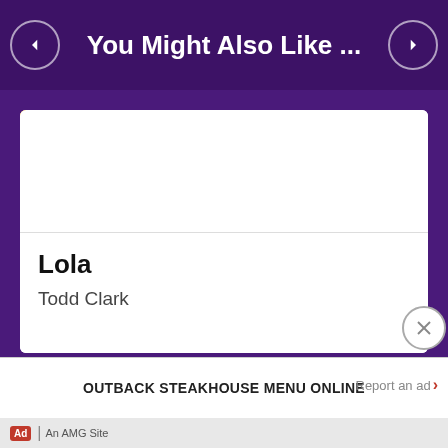You Might Also Like ...
Updated Today
Lola
Todd Clark
OUTBACK STEAKHOUSE MENU ONLINE   Report an ad   Ad   An AMG Site